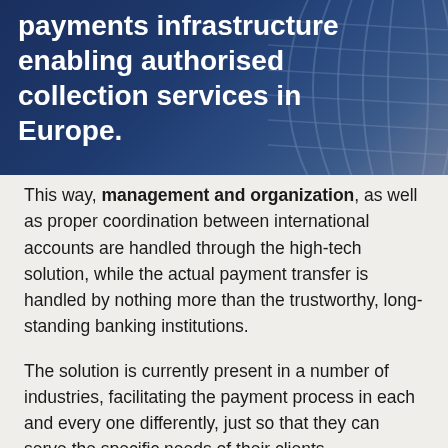[Figure (illustration): Dark blue banner with bold white text reading 'payments infrastructure enabling authorised collection services in Europe.' with a decorative textured background on the right side.]
This way, management and organization, as well as proper coordination between international accounts are handled through the high-tech solution, while the actual payment transfer is handled by nothing more than the trustworthy, long-standing banking institutions.
The solution is currently present in a number of industries, facilitating the payment process in each and every one differently, just so that they can serve the specific needs of their clients.
For one, the payment method is present in the widespread banking industry, handling transactions between banks and financial institutions much faster and cost-efficiently. While Inpay partially depends on the banks and their systems itself,